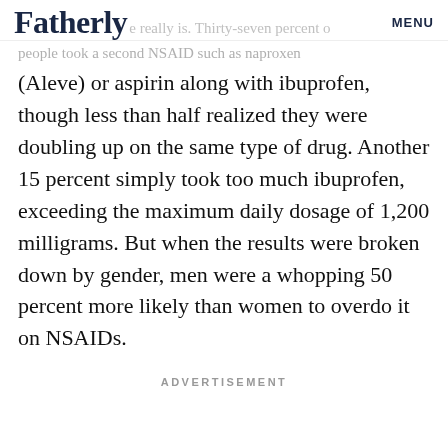Fatherly | MENU
people took a second NSAID such as naproxen (Aleve) or aspirin along with ibuprofen, though less than half realized they were doubling up on the same type of drug. Another 15 percent simply took too much ibuprofen, exceeding the maximum daily dosage of 1,200 milligrams. But when the results were broken down by gender, men were a whopping 50 percent more likely than women to overdo it on NSAIDs.
ADVERTISEMENT